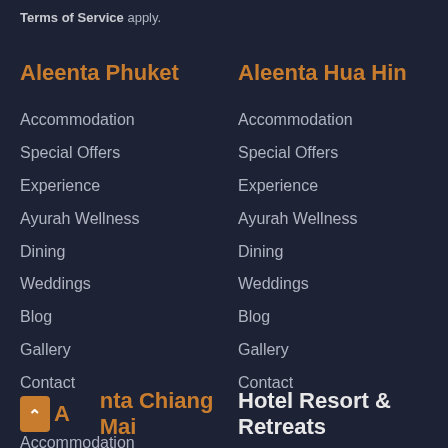Terms of Service apply.
Aleenta Phuket
Accommodation
Special Offers
Experience
Ayurah Wellness
Dining
Weddings
Blog
Gallery
Contact
Aleenta Hua Hin
Accommodation
Special Offers
Experience
Ayurah Wellness
Dining
Weddings
Blog
Gallery
Contact
Aleenta Chiang Mai
Hotel Resort & Retreats
Accommodation